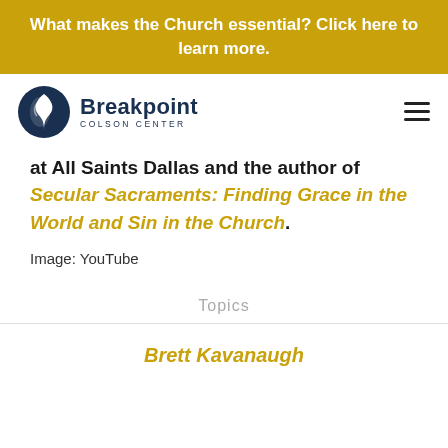What makes the Church essential? Click here to learn more.
[Figure (logo): Breakpoint Colson Center logo — circular dark blue icon with white flame/person shape, beside bold text 'Breakpoint' and 'COLSON CENTER' subtitle]
at All Saints Dallas and the author of Secular Sacraments: Finding Grace in the World and Sin in the Church.
Image: YouTube
Topics
Brett Kavanaugh